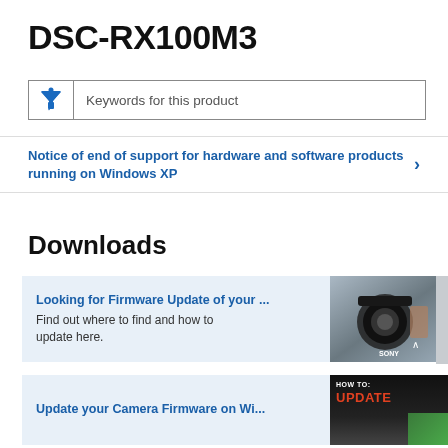DSC-RX100M3
[Figure (other): Search/filter input box with funnel icon and placeholder text 'Keywords for this product']
Notice of end of support for hardware and software products running on Windows XP
Downloads
[Figure (photo): Card with link 'Looking for Firmware Update of your ...' and description 'Find out where to find and how to update here.' with photo of Sony camera body on right]
[Figure (screenshot): Card with link 'Update your Camera Firmware on Wi...' with dark HOW TO: UPDATE thumbnail on right]